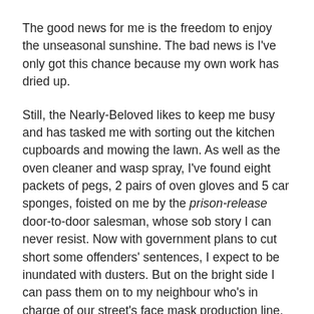The good news for me is the freedom to enjoy the unseasonal sunshine. The bad news is I've only got this chance because my own work has dried up.
Still, the Nearly-Beloved likes to keep me busy and has tasked me with sorting out the kitchen cupboards and mowing the lawn. As well as the oven cleaner and wasp spray, I've found eight packets of pegs, 2 pairs of oven gloves and 5 car sponges, foisted on me by the prison-release door-to-door salesman, whose sob story I can never resist. Now with government plans to cut short some offenders' sentences, I expect to be inundated with dusters. But on the bright side I can pass them on to my neighbour who's in charge of our street's face mask production line.
As expected, all parkruns have been cancelled and so has